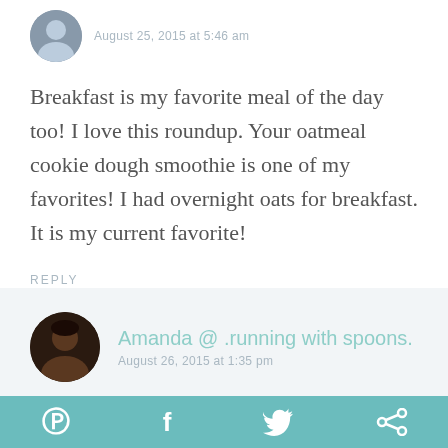[Figure (photo): Circular avatar photo of a person at top left]
August 25, 2015 at 5:46 am
Breakfast is my favorite meal of the day too! I love this roundup. Your oatmeal cookie dough smoothie is one of my favorites! I had overnight oats for breakfast. It is my current favorite!
REPLY
[Figure (photo): Circular avatar photo of Amanda, a dark-haired person]
Amanda @ .running with spoons.
August 26, 2015 at 1:35 pm
Try your overnight oats blended up in a
[Figure (infographic): Bottom social sharing bar with Pinterest, Facebook, Twitter, and email/share icons in teal/blue-green color]